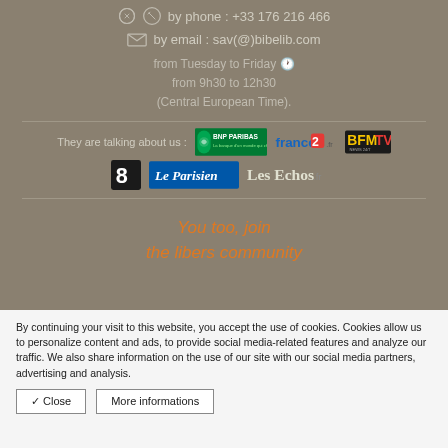by phone : +33 176 216 466
by email : sav(@)bibelib.com
from Tuesday to Friday 🕐 from 9h30 to 12h30 (Central European Time).
They are talking about us :
[Figure (logo): Logos of BNP Paribas, france2.fr, BFMTV, Canal 8, Le Parisien, Les Echos.fr]
You too, join the libers community
By continuing your visit to this website, you accept the use of cookies. Cookies allow us to personalize content and ads, to provide social media-related features and analyze our traffic. We also share information on the use of our site with our social media partners, advertising and analysis.